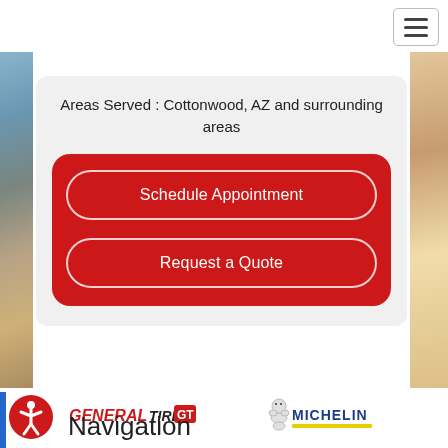[Figure (screenshot): Hamburger menu icon button in top right corner]
Areas Served : Cottonwood, AZ and surrounding areas
Schedule Appointment
Request a Quote
[Figure (logo): General Tire logo with red GT badge]
[Figure (logo): Michelin man and Michelin text logo with yellow underline]
[Figure (other): Accessibility icon - person in circle on red background]
Navigation